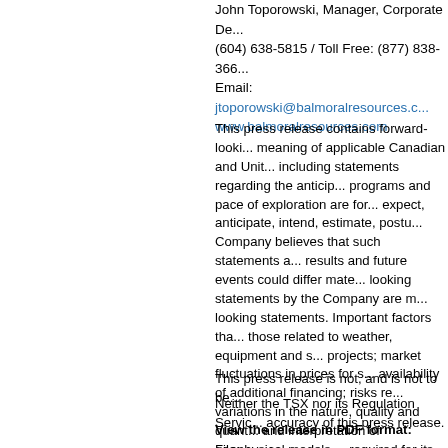John Toporowski, Manager, Corporate De...
(604) 638-5815 / Toll Free: (877) 838-366...
Email: jtoporowski@balmoralresources.c...
www.balmoralresources.com
This press release contains forward-looki... meaning of applicable Canadian and Unit... including statements regarding the anticip... programs and pace of exploration are for... expect, anticipate, intend, estimate, postu... Company believes that such statements a... results and future events could differ mate... looking statements by the Company are m... looking statements. Important factors tha... those related to weather, equipment and s... projects; market fluctuations in prices for s... availability of additional financing; risks re... variations in the nature, quality and quant... and interpretation of geophysical models,... required for its activities on the properties... profitably. Trading in the securities of the ... accessed via www.sedar.com and reader... Company's mineral properties.
This press release is not, and is not to be...
Neither the TSX nor its Regulation Servic... accuracy of this press release.
View the release in PDF format:
File: http://www.balmoralresources.com/l/...
153 KB, approx. 29 seconds at 56.6Kbp...